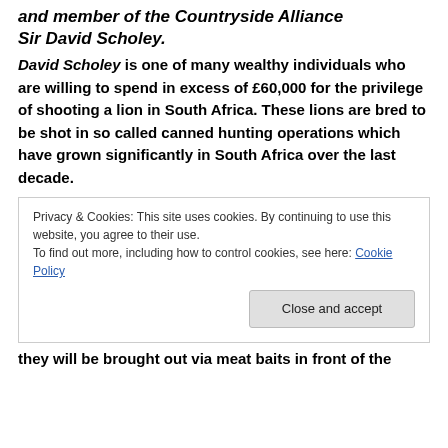and member of the Countryside Alliance Sir David Scholey.
David Scholey is one of many wealthy individuals who are willing to spend in excess of £60,000 for the privilege of shooting a lion in South Africa. These lions are bred to be shot in so called canned hunting operations which have grown significantly in South Africa over the last decade.
Privacy & Cookies: This site uses cookies. By continuing to use this website, you agree to their use.
To find out more, including how to control cookies, see here: Cookie Policy
they will be brought out via meat baits in front of the